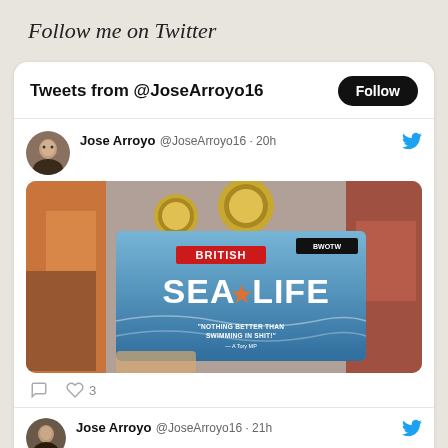Follow me on Twitter
Tweets from @JoseArroyo16
Follow
Jose Arroyo @JoseArroyo16 · 20h
[Figure (photo): A British Sea Life branded card/ticket held up in a store, showing the text 'BRITISH SEA LIFE' with a star logo and the quote 'NOTHING BETTER THAN SWIMMING IN SHIT!' — A Tory MP, with a BWOTW badge in the corner. Background shows store shelves with colorful items and gold medal decorations.]
3
Jose Arroyo @JoseArroyo16 · 21h
[Figure (screenshot): Partial screenshot of a video or webpage shown in dark/black background at the bottom of the page, content mostly cut off.]